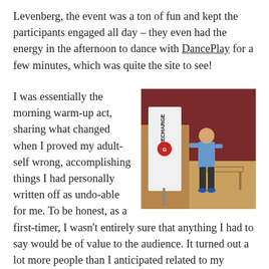Levenberg, the event was a ton of fun and kept the participants engaged all day – they even had the energy in the afternoon to dance with DancePlay for a few minutes, which was quite the site to see!
[Figure (photo): A man standing on a stage next to a table, with a RECHARGE banner visible behind him and dark red curtains in the background.]
I was essentially the morning warm-up act, sharing what changed when I proved my adult-self wrong, accomplishing things I had personally written off as undo-able for me. To be honest, as a first-timer, I wasn't entirely sure that anything I had to say would be of value to the audience. It turned out a lot more people than I anticipated related to my personal confrontation with my own potential. Speaking to them was an incredible high and, by the end of the day I had a room full of friends. When